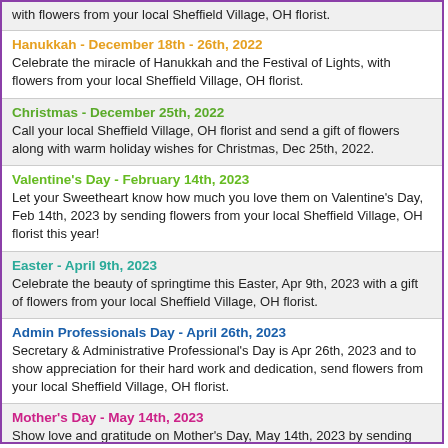with flowers from your local Sheffield Village, OH florist.
Hanukkah - December 18th - 26th, 2022
Celebrate the miracle of Hanukkah and the Festival of Lights, with flowers from your local Sheffield Village, OH florist.
Christmas - December 25th, 2022
Call your local Sheffield Village, OH florist and send a gift of flowers along with warm holiday wishes for Christmas, Dec 25th, 2022.
Valentine's Day - February 14th, 2023
Let your Sweetheart know how much you love them on Valentine's Day, Feb 14th, 2023 by sending flowers from your local Sheffield Village, OH florist this year!
Easter - April 9th, 2023
Celebrate the beauty of springtime this Easter, Apr 9th, 2023 with a gift of flowers from your local Sheffield Village, OH florist.
Admin Professionals Day - April 26th, 2023
Secretary & Administrative Professional's Day is Apr 26th, 2023 and to show appreciation for their hard work and dedication, send flowers from your local Sheffield Village, OH florist.
Mother's Day - May 14th, 2023
Show love and gratitude on Mother's Day, May 14th, 2023 by sending your Mom flowers from your local Sheffield Village, OH florist. Please order early for best results!
Father's Day - June 18th, 2023
Brighten Dad's desk at home or the office with flowers or plants from your Sheffield Village, OH local florist this Father's Day, Jun 18th, 2023.